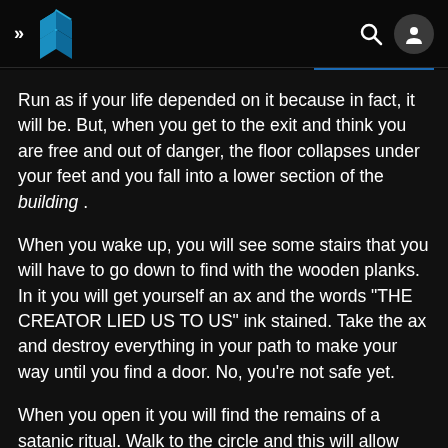>> [logo] [search] [user]
Run as if your life depended on it because in fact, it will be. But, when you get to the exit and think you are free and out of danger, the floor collapses under your feet and you fall into a lower section of the building .
When you wake up, you will see some stairs that you will have to go down to find with the wooden planks. In it you will get yourself an ax and the words "THE CREATOR LIED US TO US" ink stained. Take the ax and destroy everything in your path to make your way until you find a door. No, you're not safe yet.
When you open it you will find the remains of a satanic ritual. Walk to the circle and this will allow you to enter the past where you will see 3 flashbacks: the ink machine, a wheelchair and Bendy on your desk. When you finish